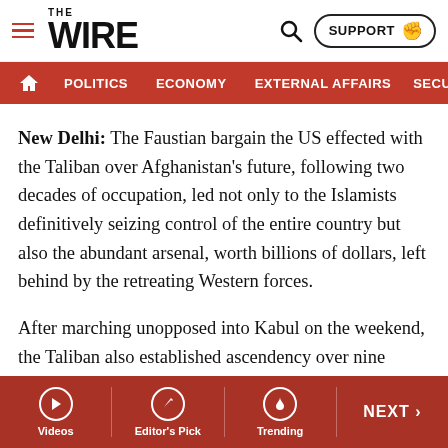THE WIRE — SUPPORT | POLITICS | ECONOMY | EXTERNAL AFFAIRS | SECU...
New Delhi: The Faustian bargain the US effected with the Taliban over Afghanistan's future, following two decades of occupation, led not only to the Islamists definitively seizing control of the entire country but also the abundant arsenal, worth billions of dollars, left behind by the retreating Western forces.
After marching unopposed into Kabul on the weekend, the Taliban also established ascendency over nine Afghan Air Force (AFA) bases and eight major Afghan National Army (ANA) headquarters that support corps-sized formations, scattered across the country.
Videos | Editor's Pick | Trending | NEXT >